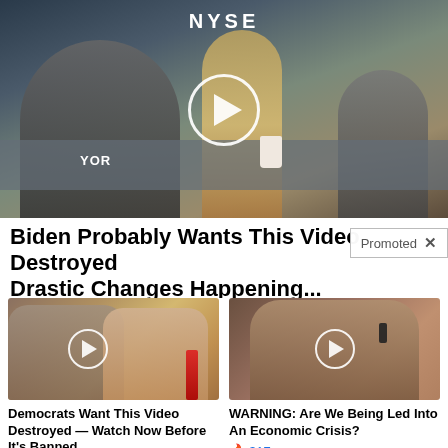[Figure (screenshot): Video thumbnail showing interview at NYSE stock exchange floor with play button overlay]
Biden Probably Wants This Video Destroyed — Drastic Changes Happening...
Promoted
[Figure (screenshot): Video thumbnail showing Trump and Melania with play button overlay]
[Figure (screenshot): Video thumbnail showing older man on phone with play button overlay]
Democrats Want This Video Destroyed — Watch Now Before It's Banned
🔥 214,697
WARNING: Are We Being Led Into An Economic Crisis?
🔥 317